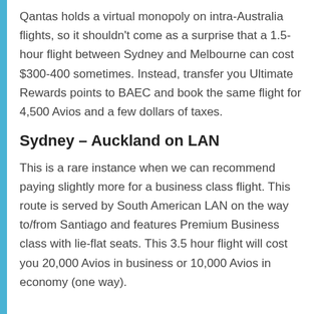Qantas holds a virtual monopoly on intra-Australia flights, so it shouldn't come as a surprise that a 1.5-hour flight between Sydney and Melbourne can cost $300-400 sometimes. Instead, transfer you Ultimate Rewards points to BAEC and book the same flight for 4,500 Avios and a few dollars of taxes.
Sydney – Auckland on LAN
This is a rare instance when we can recommend paying slightly more for a business class flight. This route is served by South American LAN on the way to/from Santiago and features Premium Business class with lie-flat seats. This 3.5 hour flight will cost you 20,000 Avios in business or 10,000 Avios in economy (one way).